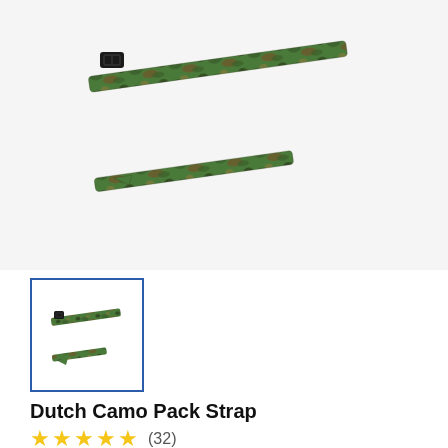[Figure (photo): Dutch camo pack strap - a long diagonal camouflage strap with black buckle on white/light grey background]
[Figure (photo): Thumbnail of Dutch camo pack strap with blue border, selected state]
Dutch Camo Pack Strap
★★★★★ (32)